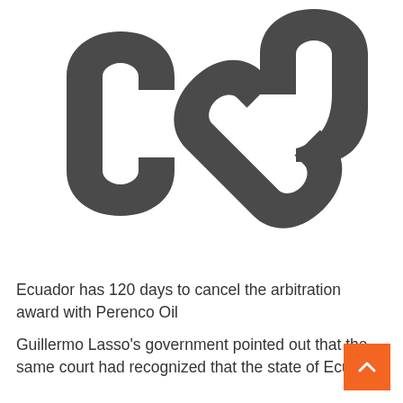[Figure (illustration): Large dark gray chain link icon (two interlocked rings) centered at the top of the page]
Ecuador has 120 days to cancel the arbitration award with Perenco Oil
Guillermo Lasso's government pointed out that the same court had recognized that the state of Ecuador